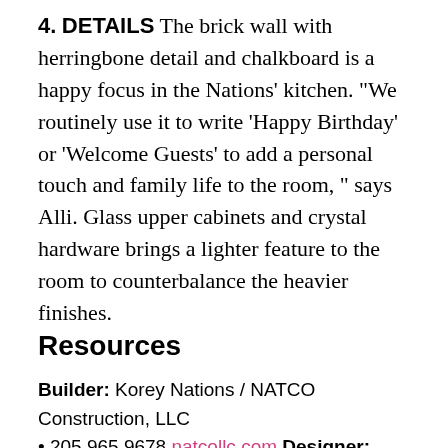4. DETAILS The brick wall with herringbone detail and chalkboard is a happy focus in the Nations' kitchen. "We routinely use it to write 'Happy Birthday' or 'Welcome Guests' to add a personal touch and family life to the room," says Alli. Glass upper cabinets and crystal hardware brings a lighter feature to the room to counterbalance the heavier finishes.
Resources
Builder: Korey Nations / NATCO Construction, LLC • 205.965.9678 natcollc.com Designer: Katrina